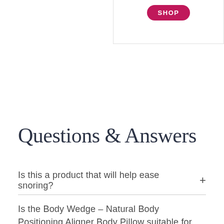[Figure (other): Shop button on a white card with border]
Questions & Answers
Is this a product that will help ease snoring?  +
Is the Body Wedge - Natural Body Positioning Aligner Body Pillow suitable for plus size people, I have a very large